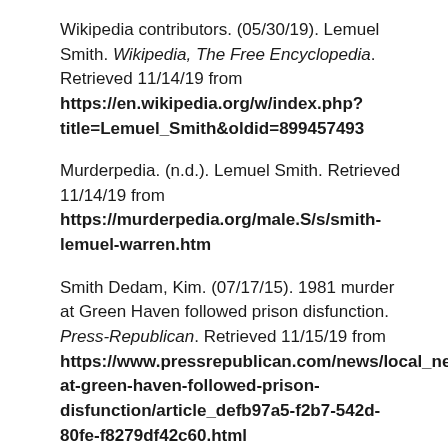Wikipedia contributors. (05/30/19). Lemuel Smith. Wikipedia, The Free Encyclopedia. Retrieved 11/14/19 from https://en.wikipedia.org/w/index.php?title=Lemuel_Smith&oldid=899457493
Murderpedia. (n.d.). Lemuel Smith. Retrieved 11/14/19 from https://murderpedia.org/male.S/s/smith-lemuel-warren.htm
Smith Dedam, Kim. (07/17/15). 1981 murder at Green Haven followed prison disfunction. Press-Republican. Retrieved 11/15/19 from https://www.pressrepublican.com/news/local_news/murder-at-green-haven-followed-prison-disfunction/article_defb97a5-f2b7-542d-80fe-f8279df42c60.html